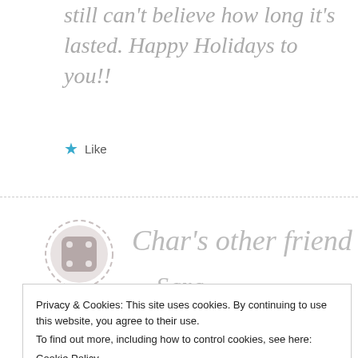still can't believe how long it's lasted. Happy Holidays to you!!
★ Like
Char's other friend Sara
Privacy & Cookies: This site uses cookies. By continuing to use this website, you agree to their use. To find out more, including how to control cookies, see here: Cookie Policy
Close and accept
cheesy dollar store when I was in